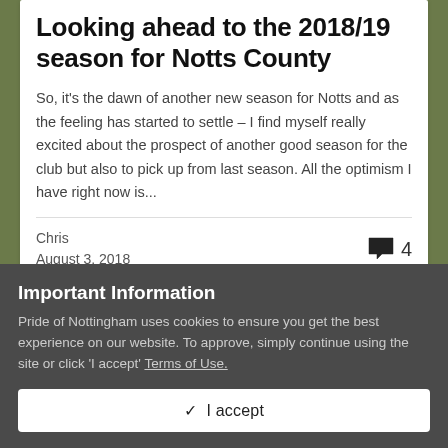Looking ahead to the 2018/19 season for Notts County
So, it's the dawn of another new season for Notts and as the feeling has started to settle – I find myself really excited about the prospect of another good season for the club but also to pick up from last season. All the optimism I have right now is...
Chris
August 3, 2018
Important Information
Pride of Nottingham uses cookies to ensure you get the best experience on our website. To approve, simply continue using the site or click 'I accept' Terms of Use.
✓  I accept